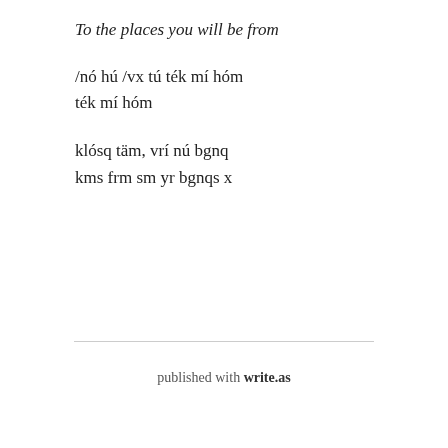To the places you will be from
/nó hú /vx tú ték mí hóm
ték mí hóm
klósq täm, vrí nú bgnq
kms frm sm yr bgnqs x
published with write.as